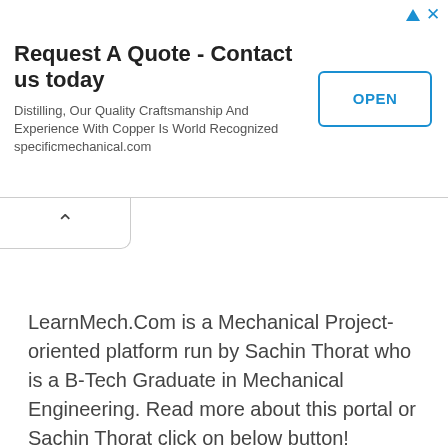[Figure (screenshot): Advertisement banner: 'Request A Quote - Contact us today' with OPEN button and ad icons]
LearnMech.Com is a Mechanical Project-oriented platform run by Sachin Thorat who is a B-Tech Graduate in Mechanical Engineering. Read more about this portal or Sachin Thorat click on below button!